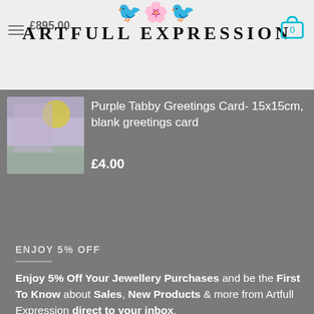Artfull Expression — Shimmer Full Collar Necklace — £895.00
[Figure (screenshot): Artfull Expression logo with decorative bird/floral motif above the text, and cart icon showing 0 items]
[Figure (photo): Product thumbnail image of Purple Tabby Greetings Card with purple and yellow colours]
Purple Tabby Greetings Card- 15x15cm, blank greetings card
£4.00
ENJOY 5% OFF
Enjoy 5% Off Your Jewellery Purchases and be the First To Know about Sales, New Products & more from Artfull Expression direct to your inbox.
Exc sale, vouchers, customise & offers.
Your Full Name (required)
Your Email (required)